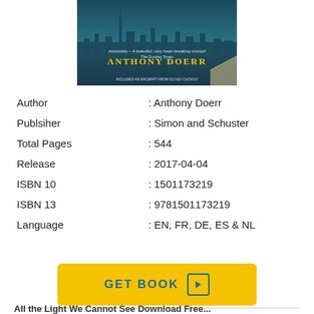[Figure (photo): Book cover of All the Light We Cannot See by Anthony Doerr, with teal/blue cityscape and yellow author name text]
| Author | : Anthony Doerr |
| Publsiher | : Simon and Schuster |
| Total Pages | : 544 |
| Release | : 2017-04-04 |
| ISBN 10 | : 1501173219 |
| ISBN 13 | : 9781501173219 |
| Language | : EN, FR, DE, ES & NL |
GET BOOK
All the Light We Cannot See Download Free...